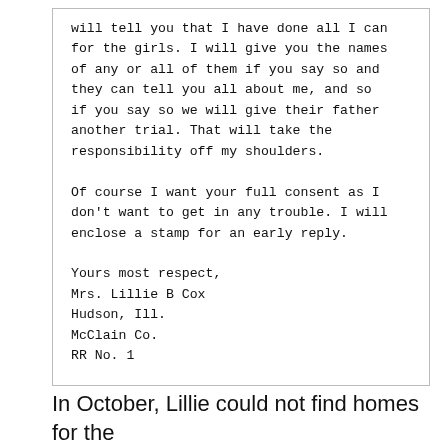will tell you that I have done all I can for the girls. I will give you the names of any or all of them if you say so and they can tell you all about me, and so if you say so we will give their father another trial. That will take the responsibility off my shoulders.

Of course I want your full consent as I don't want to get in any trouble. I will enclose a stamp for an early reply.

Yours most respect,
Mrs. Lillie B Cox
Hudson, Ill.
McClain Co.
RR No. 1
In October, Lillie could not find homes for the